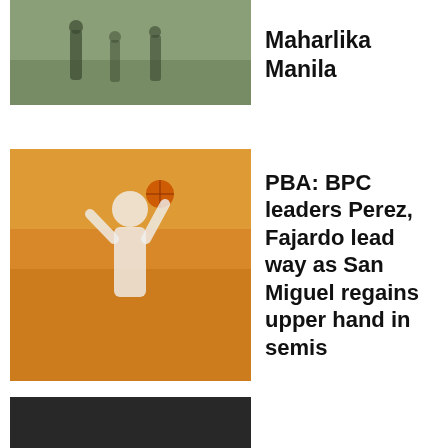[Figure (photo): Sports photo of players on a field, green/brown tones]
Maharlika Manila
[Figure (photo): Basketball game photo, player shooting with orange/yellow crowd background]
PBA: BPC leaders Perez, Fajardo lead way as San Miguel regains upper hand in semis
[Figure (photo): Two basketball players posing with trophy, dark tones]
Paraiso happy to see Abando fulfill overseas dreams
[Figure (photo): Basketball players photo, blue tones]
Mikey Williams glad Castro had his